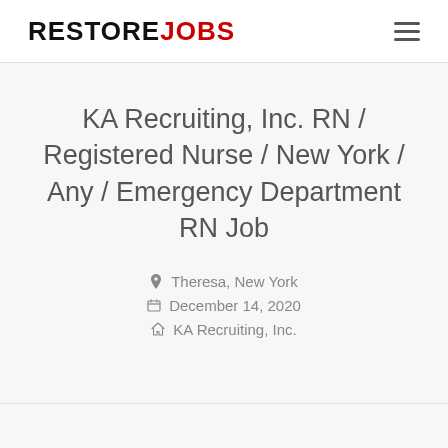RESTOREJOBS
KA Recruiting, Inc. RN / Registered Nurse / New York / Any / Emergency Department RN Job
Theresa, New York
December 14, 2020
KA Recruiting, Inc.